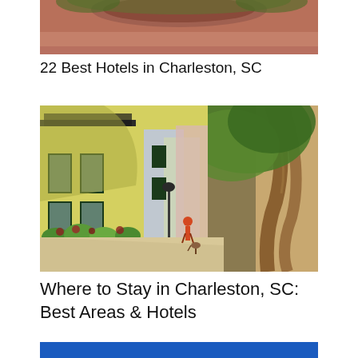[Figure (photo): Partial top view of a circular planter or fountain with brick/terracotta surroundings — cropped top image]
22 Best Hotels in Charleston, SC
[Figure (photo): Colorful street scene in Charleston, SC — yellow, pink and blue historic buildings with window boxes of flowers, a person walking a dog on a sunny tree-lined sidewalk]
Where to Stay in Charleston, SC: Best Areas & Hotels
[Figure (other): Blue bar at bottom of page — partial banner]